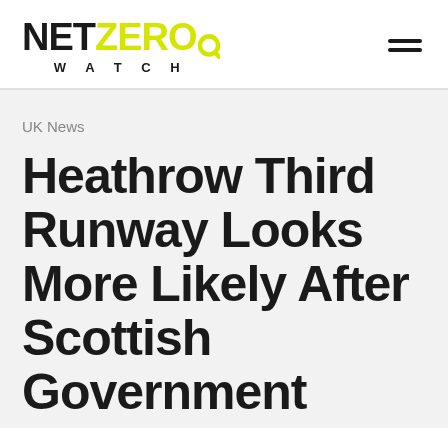NET ZERO WATCH
UK News
Heathrow Third Runway Looks More Likely After Scottish Government